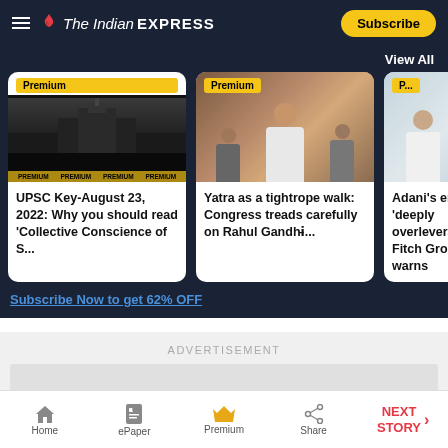The Indian EXPRESS
View All
[Figure (photo): UPSC article card with Parliament image and crowd, labeled Premium]
UPSC Key-August 23, 2022: Why you should read 'Collective Conscience of S...
[Figure (photo): Photo of Rahul Gandhi speaking at event, labeled Premium]
Yatra as a tightrope walk: Congress treads carefully on Rahul Gandhi&#821...
[Figure (photo): Photo of Adani, partially visible, labeled Premium]
Adani's empire 'deeply overleveraged', Fitch Group unit warns
Subscribe Now to get 62% OFF
ADVERTISEMENT
Home | ePaper | Premium | Share | NEXT STORY